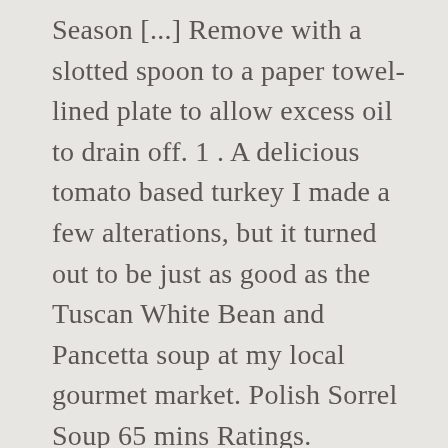Season [...] Remove with a slotted spoon to a paper towel-lined plate to allow excess oil to drain off. 1 . A delicious tomato based turkey I made a few alterations, but it turned out to be just as good as the Tuscan White Bean and Pancetta soup at my local gourmet market. Polish Sorrel Soup 65 mins Ratings. Crecipe.com deliver fine selection of quality Pioneer woman sauage and white bean soup recipes equipped with ratings, reviews and mixing tips. Get one of our Pioneer woman sauage and white bean soup recipe and prepare delicious and healthy treat for your family or friends. Print Options. Lima Bean Soup With Ham 50 mins Ratings. Well, as